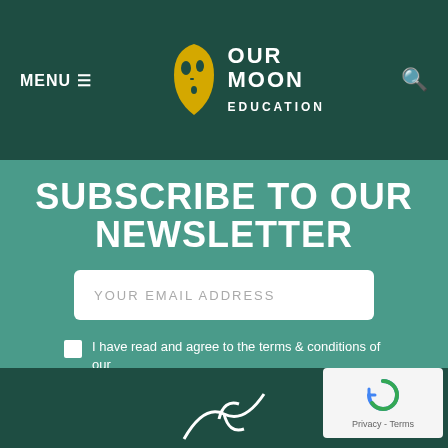MENU  OUR MOON EDUCATION
SUBSCRIBE TO OUR NEWSLETTER
YOUR EMAIL ADDRESS
I have read and agree to the terms & conditions of our Privacy Policy
SUBSCRIBE
[Figure (logo): reCAPTCHA widget with circular arrow icon, labeled Privacy - Terms]